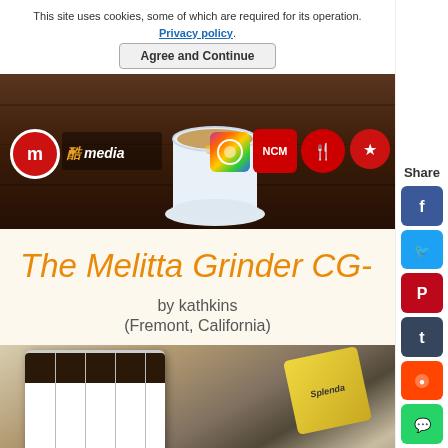This site uses cookies, some of which are required for its operation. Privacy policy.
Agree and Continue
[Figure (photo): Website header banner with logos (CM circular logo, media logo with Chinese characters, coffee cup with latte art thumbs up, rainbow logo, NCM logo, fork/spoon logo, star logo) on dark wood background]
The Melitta Grinder CG-
by kathkins
(Fremont, California)
[Figure (photo): Close-up photo of a white coffee mug on a wooden surface with a yellow Splenda packet nearby]
[Figure (other): Social share sidebar with Share label and buttons for Facebook, Twitter, Pinterest, Tumblr, Reddit, WhatsApp]